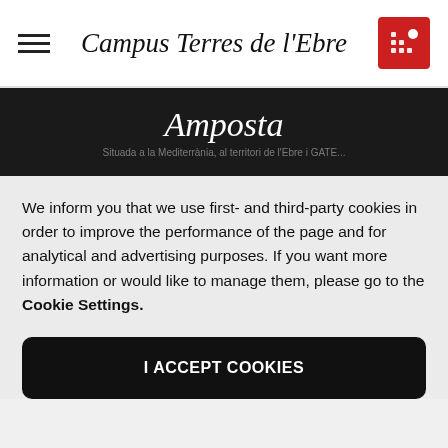Campus Terres de l'Ebre
Amposta
We inform you that we use first- and third-party cookies in order to improve the performance of the page and for analytical and advertising purposes. If you want more information or would like to manage them, please go to the Cookie Settings.
I ACCEPT COOKIES